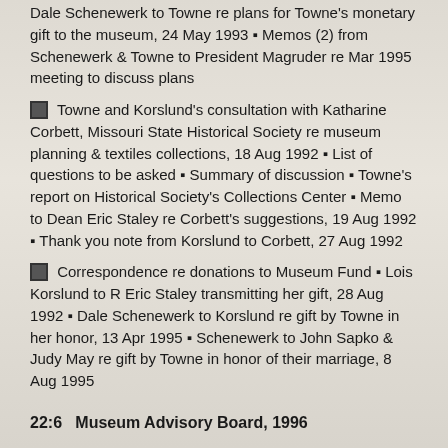Dale Schenewerk to Towne re plans for Towne's monetary gift to the museum, 24 May 1993 ▪ Memos (2) from Schenewerk & Towne to President Magruder re Mar 1995 meeting to discuss plans
▪ Towne and Korslund's consultation with Katharine Corbett, Missouri State Historical Society re museum planning & textiles collections, 18 Aug 1992 ▪ List of questions to be asked ▪ Summary of discussion ▪ Towne's report on Historical Society's Collections Center ▪ Memo to Dean Eric Staley re Corbett's suggestions, 19 Aug 1992 ▪ Thank you note from Korslund to Corbett, 27 Aug 1992
▪ Correspondence re donations to Museum Fund ▪ Lois Korslund to R Eric Staley transmitting her gift, 28 Aug 1992 ▪ Dale Schenewerk to Korslund re gift by Towne in her honor, 13 Apr 1995 ▪ Schenewerk to John Sapko & Judy May re gift by Towne in honor of their marriage, 8 Aug 1995
22:6  Museum Advisory Board, 1996